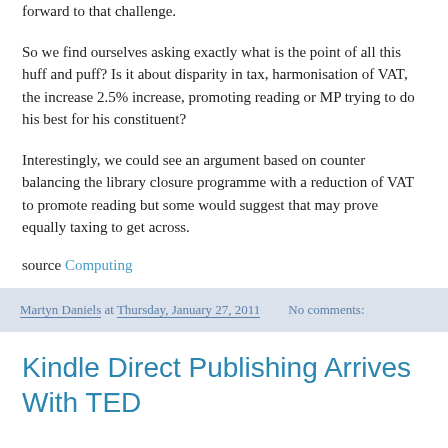forward to that challenge.
So we find ourselves asking exactly what is the point of all this huff and puff? Is it about disparity in tax, harmonisation of VAT, the increase 2.5% increase, promoting reading or MP trying to do his best for his constituent?
Interestingly, we could see an argument based on counter balancing the library closure programme with a reduction of VAT to promote reading but some would suggest that may prove equally taxing to get across.
source Computing
Martyn Daniels at Thursday, January 27, 2011   No comments:
Kindle Direct Publishing Arrives With TED